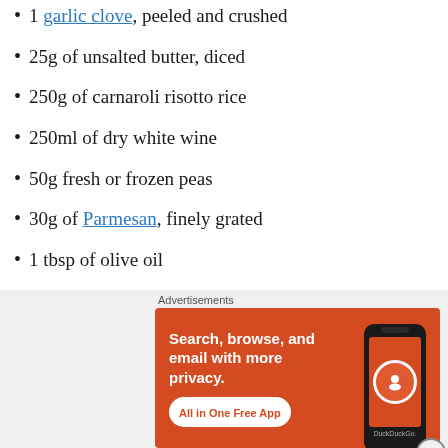1 garlic clove, peeled and crushed
25g of unsalted butter, diced
250g of carnaroli risotto rice
250ml of dry white wine
50g fresh or frozen peas
30g of Parmesan, finely grated
1 tbsp of olive oil
salt
[Figure (screenshot): DuckDuckGo advertisement banner: orange background with text 'Search, browse, and email with more privacy. All in One Free App' and a phone mockup showing DuckDuckGo logo]